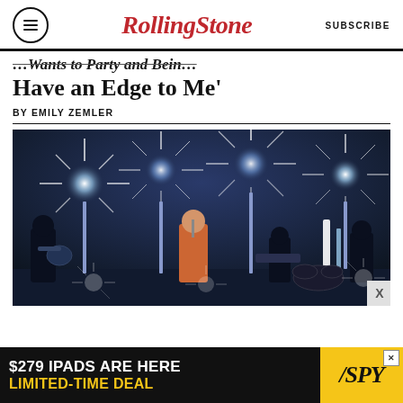Rolling Stone | SUBSCRIBE
Have an Edge to Me'
BY EMILY ZEMLER
[Figure (photo): Band performing on a dark stage with bright star-burst stage lights. Center vocalist in colorful shirt playing guitar, flanked by guitarist on left and bassist on right, with keyboard player and drummer in background.]
[Figure (other): Advertisement banner: '$279 IPADS ARE HERE LIMITED-TIME DEAL' with SPY logo in yellow and black]